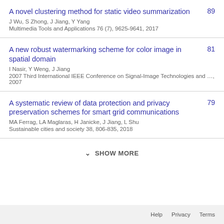A novel clustering method for static video summarization
J Wu, S Zhong, J Jiang, Y Yang
Multimedia Tools and Applications 76 (7), 9625-9641, 2017
89
A new robust watermarking scheme for color image in spatial domain
I Nasir, Y Weng, J Jiang
2007 Third International IEEE Conference on Signal-Image Technologies and …, 2007
81
A systematic review of data protection and privacy preservation schemes for smart grid communications
MA Ferrag, LA Maglaras, H Janicke, J Jiang, L Shu
Sustainable cities and society 38, 806-835, 2018
79
SHOW MORE
Help   Privacy   Terms